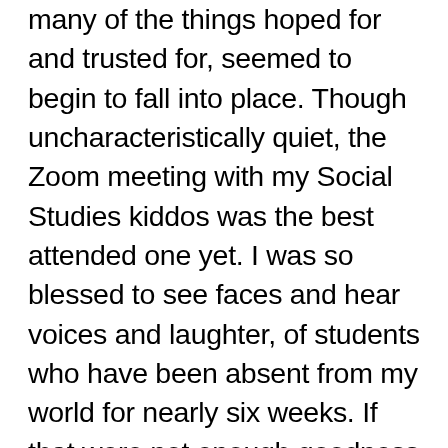many of the things hoped for and trusted for, seemed to begin to fall into place. Though uncharacteristically quiet, the Zoom meeting with my Social Studies kiddos was the best attended one yet. I was so blessed to see faces and hear voices and laughter, of students who have been absent from my world for nearly six weeks. If that were not enough goodness for one day, I received a call at lunchtime from the gal I had been speaking with about yellow lab puppies. She let me know that there was only one remaining, and another family was asking, but she wanted me to have priority, as I had inquired first. We then and there had a Zoom meeting of our own, so that the boys and I could virtually